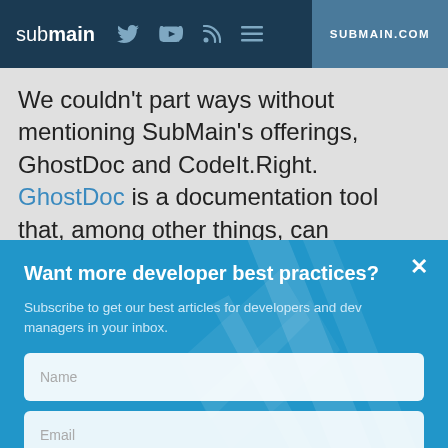submain  SUBMAIN.COM
We couldn't part ways without mentioning SubMain's offerings, GhostDoc and CodeIt.Right. GhostDoc is a documentation tool that, among other things, can automatically generate XML
Want more developer best practices?
Subscribe to get our best articles for developers and dev managers in your inbox.
Name
Email
SUBSCRIBE
No thanks, I'm not interested